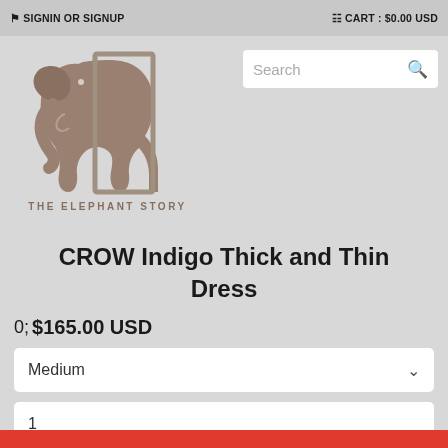SIGNIN OR SIGNUP    CART : $0.00 USD
[Figure (logo): The Elephant Story logo: stylized elephant silhouette in taupe/grey-brown with outline rectangle, text THE ELEPHANT STORY below]
CROW Indigo Thick and Thin Dress
$165.00 USD
Medium
1